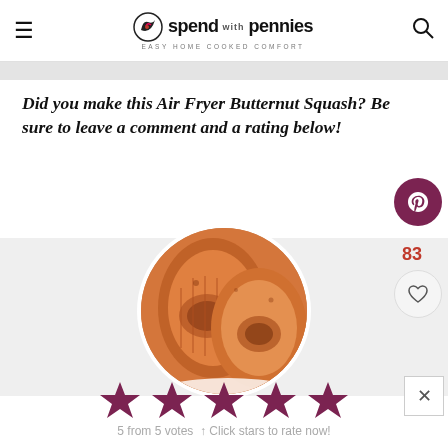spend with pennies — EASY HOME COOKED COMFORT
Did you make this Air Fryer Butternut Squash? Be sure to leave a comment and a rating below!
[Figure (photo): Circular photo of roasted air fryer butternut squash halves, showing caramelized orange flesh]
83
5 from 5 votes  ↑ Click stars to rate now!